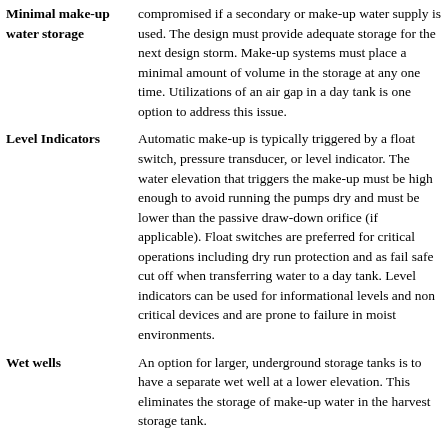| Minimal make-up water storage | compromised if a secondary or make-up water supply is used. The design must provide adequate storage for the next design storm. Make-up systems must place a minimal amount of volume in the storage at any one time. Utilizations of an air gap in a day tank is one option to address this issue.

Automatic make-up is typically triggered by a float switch, pressure transducer, or level indicator. The water elevation that triggers the make-up must be high enough to avoid running the pumps dry and must be lower than the passive draw-down orifice (if applicable). Float switches are preferred for critical operations including dry run protection and as fail safe cut off when transferring water to a day tank. Level indicators can be used for informational levels and non critical devices and are prone to failure in moist environments. |
| Level Indicators |  |
| Wet wells | An option for larger, underground storage tanks is to have a separate wet well at a lower elevation. This eliminates the storage of make-up water in the harvest storage tank. |